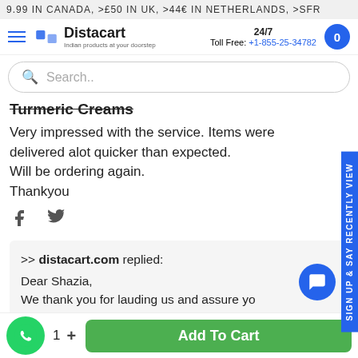9.99 IN CANADA, >£50 IN UK, >44€ IN NETHERLANDS, >SFR
[Figure (logo): Distacart logo with tagline 'Indian products at your doorstep']
24/7 Toll Free: +1-855-25-34782
Search..
Turmeric Creams
Very impressed with the service. Items were delivered alot quicker than expected.
Will be ordering again.
Thankyou
[Figure (other): Facebook and Twitter social icons]
>> distacart.com replied:
Dear Shazia,
We thank you for lauding us and assure you of our best services at all times. We also noticed that you have reviewed our services
Add To Cart